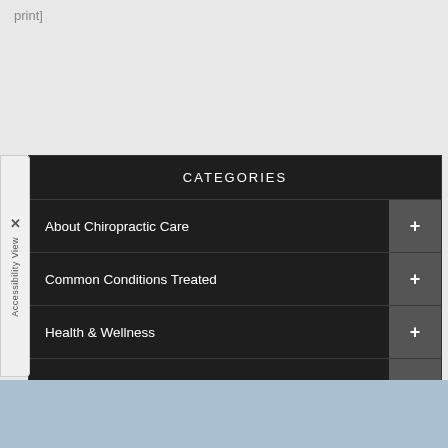print]
About Chiropractic Care
Common Conditions Treated
Health & Wellness
Therapies & Techniques
Newsletter Library
Wellness4Kids